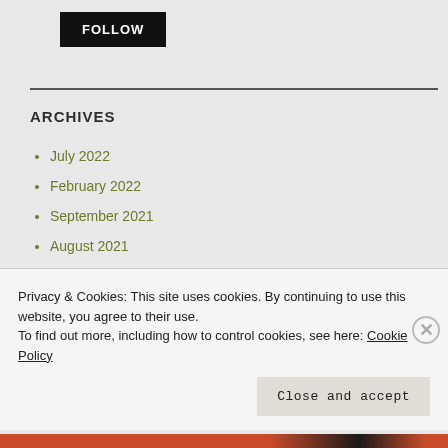FOLLOW
ARCHIVES
July 2022
February 2022
September 2021
August 2021
April 2021
Privacy & Cookies: This site uses cookies. By continuing to use this website, you agree to their use.
To find out more, including how to control cookies, see here: Cookie Policy
Close and accept